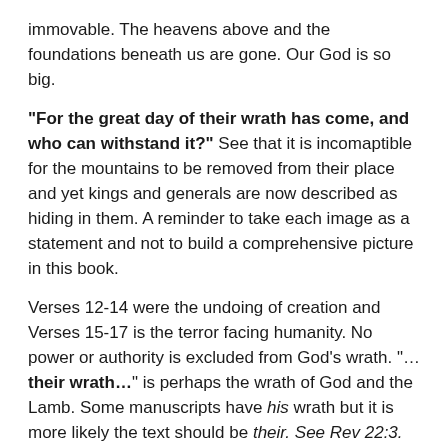immovable. The heavens above and the foundations beneath us are gone. Our God is so big.
“For the great day of their wrath has come, and who can withstand it?” See that it is incomaptible for the mountains to be removed from their place and yet kings and generals are now described as hiding in them. A reminder to take each image as a statement and not to build a comprehensive picture in this book.
Verses 12-14 were the undoing of creation and Verses 15-17 is the terror facing humanity. No power or authority is excluded from God’s wrath. “…their wrath…” is perhaps the wrath of God and the Lamb. Some manuscripts have his wrath but it is more likely the text should be their. See Rev 22:3.
The 144,000 – The saved are sealed (7:1-8)